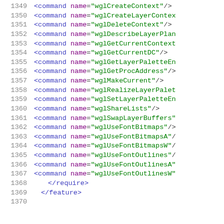Code listing lines 1349-1370 showing XML command elements with wgl* names and closing require/feature tags